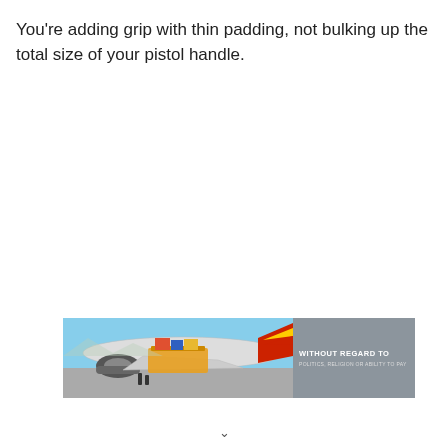You're adding grip with thin padding, not bulking up the total size of your pistol handle.
[Figure (photo): Advertisement banner showing an airplane being loaded with cargo on the tarmac, with a grey overlay box containing the text 'WITHOUT REGARD TO POLITICS, RELIGION OR ABILITY TO PAY']